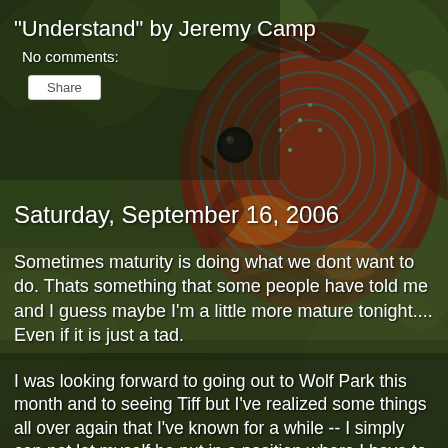[Figure (photo): A colorful discus fish with red, blue and teal striped patterns, photographed against a dark green bokeh background. The fish faces left and fills much of the upper-right portion of the image.]
"Understand" by Jeremy Camp
No comments:
Saturday, September 16, 2006
Sometimes maturity is doing what we dont want to do. Thats something that some people have told me and I guess maybe I'm a little more mature tonight.... Even if it is just a tad.
I was looking forward to going out to Wolf Park this month and to seeing Tiff but I've realized some things all over again that I've known for a while -- I simply can not let myself be put in a position where I have to wait for other people to make decissions. There still has been no final decission on when I was going or even if I was going.... and it really has been bugging me. The only option I had was to make the decision that became obvious. But I do look forward to...